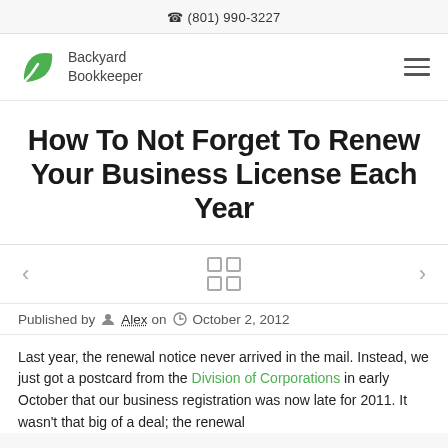(801) 990-3227
[Figure (logo): Backyard Bookkeeper logo with green leaf icon and text]
How To Not Forget To Renew Your Business License Each Year
Published by Alex on October 2, 2012
Last year, the renewal notice never arrived in the mail. Instead, we just got a postcard from the Division of Corporations in early October that our business registration was now late for 2011. It wasn't that big of a deal; the renewal